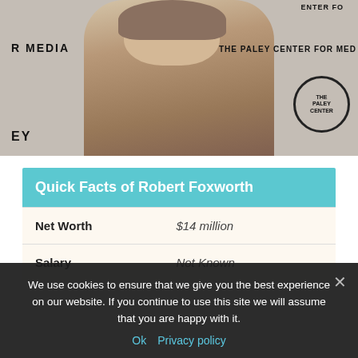[Figure (photo): Robert Foxworth at The Paley Center for Media event, wearing glasses and a brown blazer over a light shirt, standing in front of a branded backdrop.]
|  | Quick Facts of Robert Foxworth |
| --- | --- |
| Net Worth | $14 million |
| Salary | Not Known |
We use cookies to ensure that we give you the best experience on our website. If you continue to use this site we will assume that you are happy with it.
Ok  Privacy policy